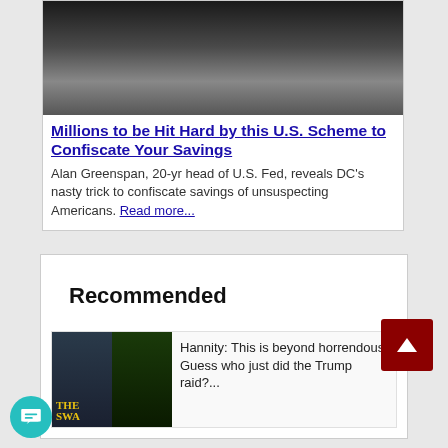[Figure (photo): Close-up black and white photo of an older man with mouth open speaking, wearing a suit, with hand raised]
Millions to be Hit Hard by this U.S. Scheme to Confiscate Your Savings
Alan Greenspan, 20-yr head of U.S. Fed, reveals DC's nasty trick to confiscate savings of unsuspecting Americans. Read more...
Recommended
[Figure (photo): Thumbnail image of Hannity TV show with book cover overlay reading THE SWA...]
Hannity: This is beyond horrendous. Guess who just did the Trump raid?...